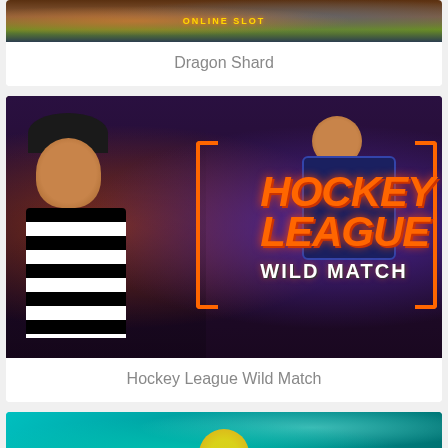[Figure (photo): Partial view of Dragon Shard online slot game banner image]
Dragon Shard
[Figure (photo): Hockey League Wild Match slot game promotional image featuring a referee in black and white striped shirt and a hockey player in dark jersey, with large orange and white text reading HOCKEY LEAGUE WILD MATCH]
Hockey League Wild Match
[Figure (photo): Partial view of another slot game banner with teal/turquoise background and a yellow circular element at the bottom]